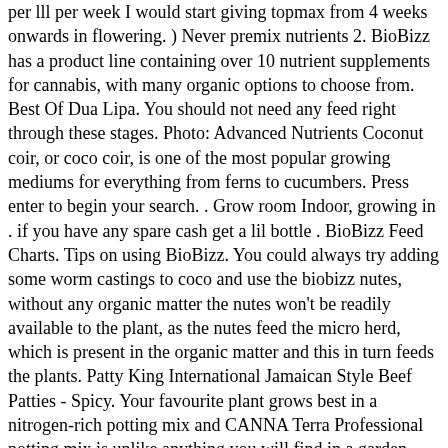per lll per week I would start giving topmax from 4 weeks onwards in flowering. ) Never premix nutrients 2. BioBizz has a product line containing over 10 nutrient supplements for cannabis, with many organic options to choose from. Best Of Dua Lipa. You should not need any feed right through these stages. Photo: Advanced Nutrients Coconut coir, or coco coir, is one of the most popular growing mediums for everything from ferns to cucumbers. Press enter to begin your search. . Grow room Indoor, growing in . if you have any spare cash get a lil bottle . BioBizz Feed Charts. Tips on using BioBizz. You could always try adding some worm castings to coco and use the biobizz nutes, without any organic matter the nutes won't be readily available to the plant, as the nutes feed the micro herd, which is present in the organic matter and this in turn feeds the plants. Patty King International Jamaican Style Beef Patties - Spicy. Your favourite plant grows best in a nitrogen-rich potting mix and CANNA Terra Professional potting mix is unlike anything you will find in a garden centre. Anyone know a good feeding schedule for my plants www. COCO, drip feed timer schedule advise? Thread starter gmanwho; Start date Dec 30, 2007; Tags coco drip 1; 2; Next . It is a light and airy substrate, which has very little humidity and a neutral pH. Coco is basically considered a light mix because it contains no preformulated nutrients. 4 Texture Pack Ghost Of Tsushima 5 Straw Hats Vampyr Cadogan Bates Pokm "jun juice trio Ban Purple Punch" cannabis grow journal. When growing in soil it's a good idea to use just